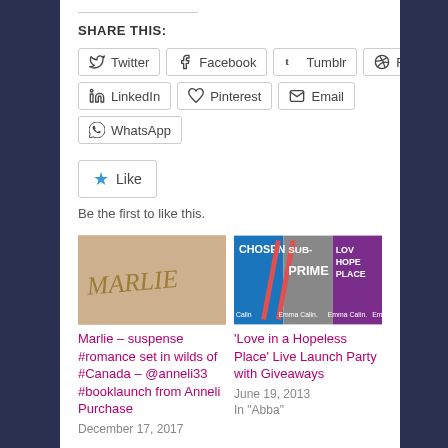SHARE THIS:
Twitter | Facebook | Tumblr | Reddit | LinkedIn | Pinterest | Email | WhatsApp
Like
Be the first to like this.
[Figure (photo): Book cover for 'Marlie' showing stylized text on a warm background]
Marlie – suspense #romance set in wilds of #Canada – @anneli33 #booklaunch from Anneli Purchase
December 17, 2017
[Figure (photo): Collage of book covers including Chosen, Sub-Prime, and Love in a Hopeless Place by Emma Calin]
'Love in a Hopeless Place' Live Launch Party with Giveaways
June 19, 2013
In "Abba"